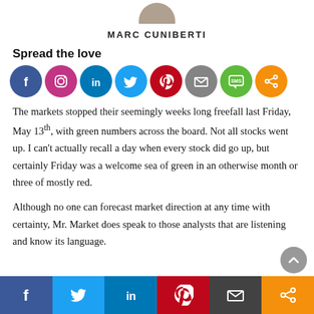[Figure (photo): Circular avatar/profile photo of Marc Cuniberti, partially cropped at top]
MARC CUNIBERTI
Spread the love
[Figure (infographic): Row of social media share icons: Facebook, Instagram, LinkedIn, Twitter, Pinterest, Email, SMS, Share]
The markets stopped their seemingly weeks long freefall last Friday, May 13th, with green numbers across the board. Not all stocks went up. I can't actually recall a day when every stock did go up, but certainly Friday was a welcome sea of green in an otherwise month or three of mostly red.
Although no one can forecast market direction at any time with certainty, Mr. Market does speak to those analysts that are listening and know its language.
[Figure (infographic): Bottom share bar with Facebook (blue), Twitter (blue), LinkedIn (blue), Pinterest (red), Email (green), Share (orange) buttons]